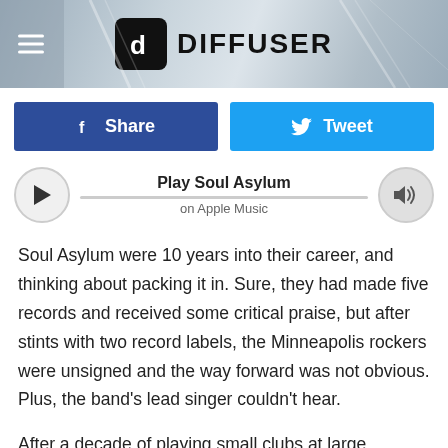DIFFUSER
Share | Tweet
Play Soul Asylum on Apple Music
Soul Asylum were 10 years into their career, and thinking about packing it in. Sure, they had made five records and received some critical praise, but after stints with two record labels, the Minneapolis rockers were unsigned and the way forward was not obvious. Plus, the band's lead singer couldn't hear.
After a decade of playing small clubs at large volumes, Dave Pirner had developed tinnitus. Without a viable plan B, the members of Soul Asylum (guitarist Dan Murphy, bassist Karl